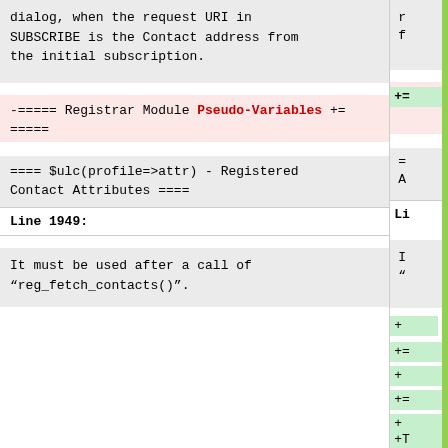dialog, when the request URI in SUBSCRIBE is the Contact address from the initial subscription.
-===== Registrar Module Pseudo-Variables +=====
==== $ulc(profile=>attr) - Registered Contact Attributes ====
Line 1949:
It must be used after a call of “reg_fetch_contacts()”.